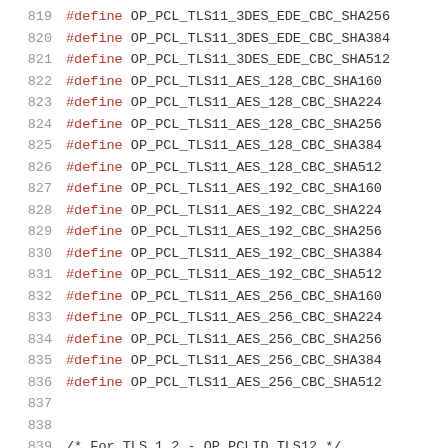819   #define OP_PCL_TLS11_3DES_EDE_CBC_SHA256
820   #define OP_PCL_TLS11_3DES_EDE_CBC_SHA384
821   #define OP_PCL_TLS11_3DES_EDE_CBC_SHA512
822   #define OP_PCL_TLS11_AES_128_CBC_SHA160
823   #define OP_PCL_TLS11_AES_128_CBC_SHA224
824   #define OP_PCL_TLS11_AES_128_CBC_SHA256
825   #define OP_PCL_TLS11_AES_128_CBC_SHA384
826   #define OP_PCL_TLS11_AES_128_CBC_SHA512
827   #define OP_PCL_TLS11_AES_192_CBC_SHA160
828   #define OP_PCL_TLS11_AES_192_CBC_SHA224
829   #define OP_PCL_TLS11_AES_192_CBC_SHA256
830   #define OP_PCL_TLS11_AES_192_CBC_SHA384
831   #define OP_PCL_TLS11_AES_192_CBC_SHA512
832   #define OP_PCL_TLS11_AES_256_CBC_SHA160
833   #define OP_PCL_TLS11_AES_256_CBC_SHA224
834   #define OP_PCL_TLS11_AES_256_CBC_SHA256
835   #define OP_PCL_TLS11_AES_256_CBC_SHA384
836   #define OP_PCL_TLS11_AES_256_CBC_SHA512
837
838
839   /* For TLS 1.2 - OP_PCLID_TLS12 */